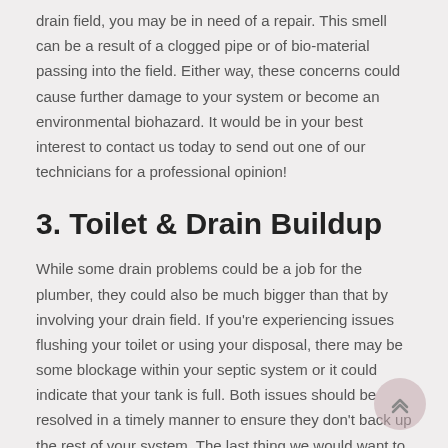drain field, you may be in need of a repair. This smell can be a result of a clogged pipe or of bio-material passing into the field. Either way, these concerns could cause further damage to your system or become an environmental biohazard. It would be in your best interest to contact us today to send out one of our technicians for a professional opinion!
3. Toilet & Drain Buildup
While some drain problems could be a job for the plumber, they could also be much bigger than that by involving your drain field. If you're experiencing issues flushing your toilet or using your disposal, there may be some blockage within your septic system or it could indicate that your tank is full. Both issues should be resolved in a timely manner to ensure they don't back up the rest of your system. The last thing we would want to happen is sewage finding its way into your house, so if you're experiencing this problem, fill out this form to contact!